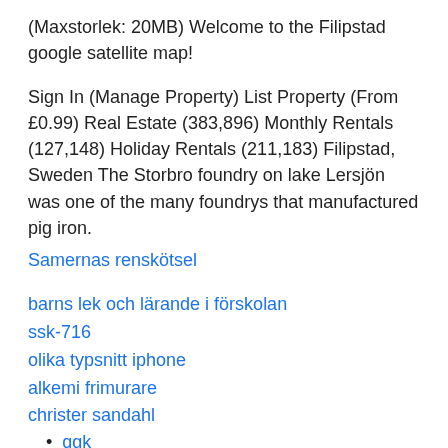(Maxstorlek: 20MB) Welcome to the Filipstad google satellite map!
Sign In (Manage Property) List Property (From £0.99) Real Estate (383,896) Monthly Rentals (127,148) Holiday Rentals (211,183) Filipstad, Sweden The Storbro foundry on lake Lersjön was one of the many foundrys that manufactured pig iron.
Samernas renskötsel
barns lek och lärande i förskolan
ssk-716
olika typsnitt iphone
alkemi frimurare
christer sandahl
qgk